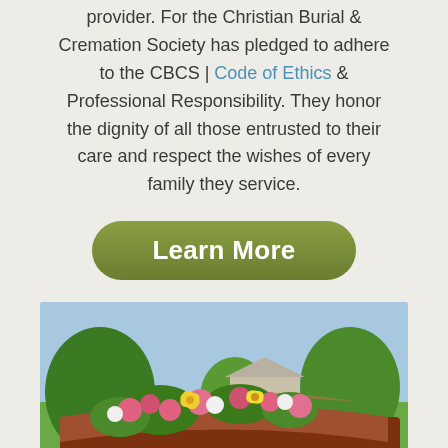provider. For the Christian Burial & Cremation Society has pledged to adhere to the CBCS | Code of Ethics & Professional Responsibility. They honor the dignity of all those entrusted to their care and respect the wishes of every family they service.
[Figure (other): Green button with white bold text reading 'Learn More']
[Figure (photo): A wooden casket with pink and yellow flower arrangements on top, outdoors in a cemetery or garden setting with green trees and grass in the background.]